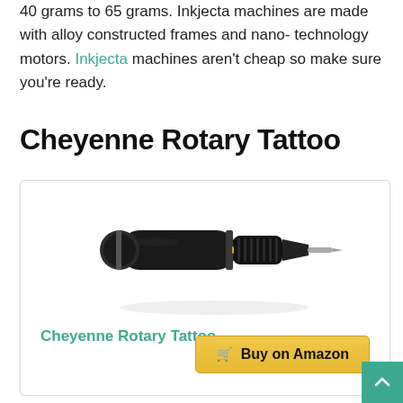40 grams to 65 grams. Inkjecta machines are made with alloy constructed frames and nano-technology motors. Inkjecta machines aren't cheap so make sure you're ready.
Cheyenne Rotary Tattoo
[Figure (photo): Photo of a Cheyenne Rotary Tattoo machine pen in black with metallic grip and needle tip, shown on a white background with a slight shadow reflection.]
Cheyenne Rotary Tattoo
Buy on Amazon